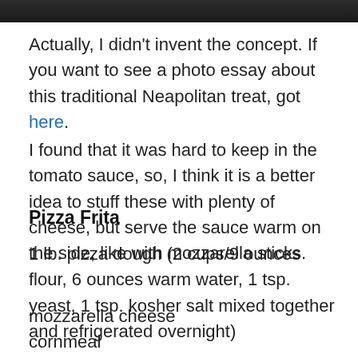[Figure (photo): Top portion of a photo visible at the top of the page, mostly cropped dark image]
Actually, I didn't invent the concept. If you want to see a photo essay about this traditional Neapolitan treat, got here.
I found that it was hard to keep in the tomato sauce, so, I think it is a better idea to stuff these with plenty of cheese, but serve the sauce warm on the side, like with mozzarella sticks.
Pizza Frita
1 lb. pizza dough (2 cups/9 ounces flour, 6 ounces warm water, 1 tsp. yeast, 1 tsp. kosher salt mixed together and refrigerated overnight)
mozzarella cheese
cornmeal
tomato sauce